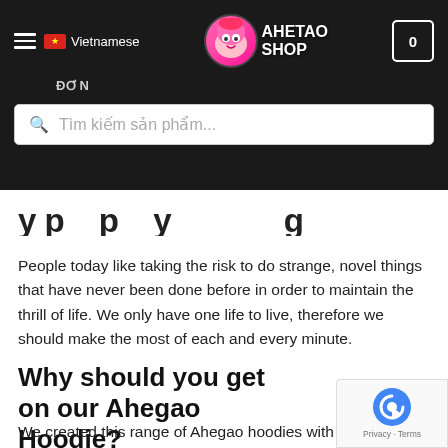Vietnamese | AHETAO SHOP | ĐƠN | 0
Tìm kiếm sản phẩm...
y p y g
People today like taking the risk to do strange, novel things that have never been done before in order to maintain the thrill of life. We only have one life to live, therefore we should make the most of each and every minute.
Why should you get on our Ahegao Hoodie?
We created this range of Ahegao hoodies with the same thought of shocking the community by breaking the res traditional conventional apparel and fashion.